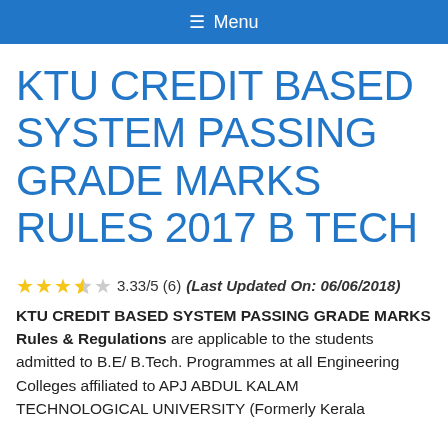☰ Menu
KTU CREDIT BASED SYSTEM PASSING GRADE MARKS RULES 2017 B TECH
★★★☆☆ 3.33/5 (6) (Last Updated On: 06/06/2018) KTU CREDIT BASED SYSTEM PASSING GRADE MARKS Rules & Regulations are applicable to the students admitted to B.E/ B.Tech. Programmes at all Engineering Colleges affiliated to APJ ABDUL KALAM TECHNOLOGICAL UNIVERSITY (Formerly Kerala